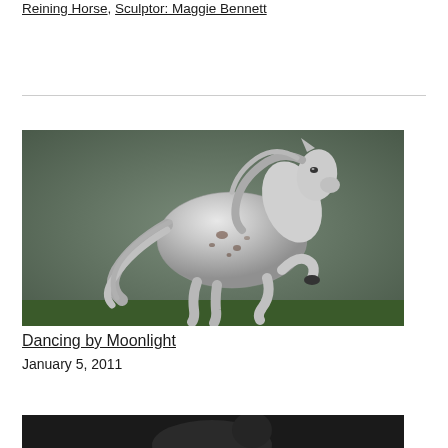Reining Horse, Sculptor: Maggie Bennett
[Figure (photo): Silver horse figurine/sculpture in a rearing pose with flowing mane and tail, photographed against a grey-green background. The figurine appears to be a model horse with appaloosa-style markings.]
Dancing by Moonlight
January 5, 2011
[Figure (photo): Partial view of another dark-colored horse figurine/sculpture at the bottom of the page, cropped.]